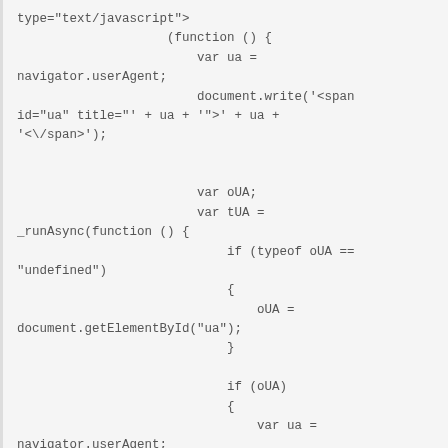type="text/javascript">
                    (function () {
                        var ua =
nnavigator.userAgent;
                        document.write('<span
id="ua" title="' + ua + '">' + ua +
'<\/span>');


                        var oUA;
                        var tUA =
_runAsync(function () {
                            if (typeof oUA ==
"undefined")
                            {
                                oUA =
document.getElementById("ua");
                            }

                            if (oUA)
                            {
                                var ua =
navigator.userAgent;


                            if (oUA.innerHTML
!= ua)
                            {
                                oUA.innerHTML =